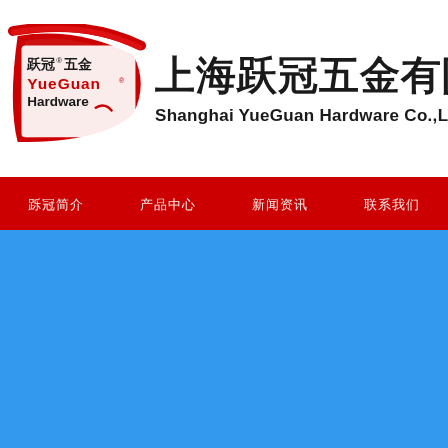[Figure (logo): YueGuan Hardware logo with red arc and Chinese/English text]
上海跃冠五金有限公司 Shanghai YueGuan Hardware Co.,Ltd
导航栏: 跃冠简介 | 产品中心 | 新闻资讯 | 联系我们
[Figure (photo): Blue background content area - main page banner]